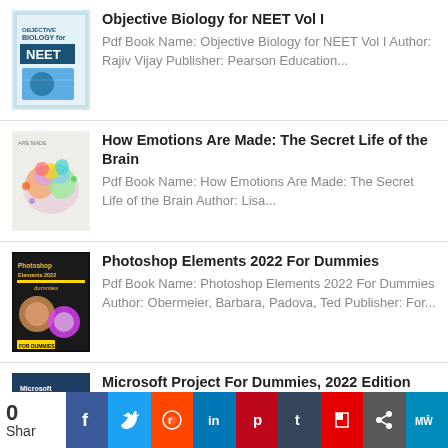Objective Biology for NEET Vol I — Pdf Book Name: Objective Biology for NEET Vol I Author: Rajiv Vijay Publisher: Pearson Education...
How Emotions Are Made: The Secret Life of the Brain — Pdf Book Name: How Emotions Are Made: The Secret Life of the Brain Author: Lisa...
Photoshop Elements 2022 For Dummies — Pdf Book Name: Photoshop Elements 2022 For Dummies Author: Obermeier, Barbara, Padova, Ted Publisher: For...
Microsoft Project For Dummies, 2022 Edition — Pdf Book Name: Microsoft Project For Dummies, 2022 Edition Author: Cynthia Snyder Dionisio Publisher: John...
[Figure (infographic): Social sharing bar with share count 0, buttons for Facebook, Twitter, Reddit, LinkedIn, Pinterest, Tumblr, Flipboard, ShareThis, MeWe]